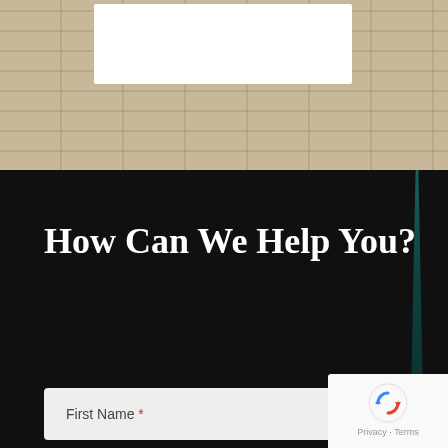[Figure (photo): Stone building facade with horizontal masonry lines, white logo/header box overlay at top center]
How Can We Help You?
First Name *
Last Name *
[Figure (other): reCAPTCHA widget showing rotating arrows icon with Privacy and Terms links]